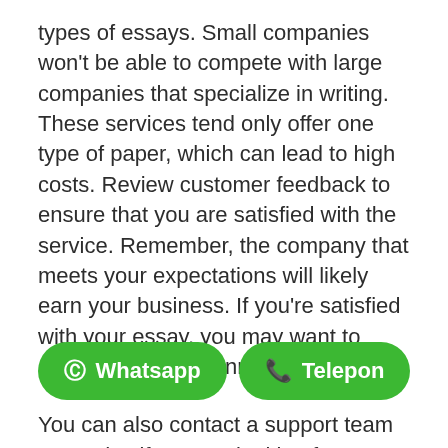types of essays. Small companies won't be able to compete with large companies that specialize in writing. These services tend only offer one type of paper, which can lead to high costs. Review customer feedback to ensure that you are satisfied with the service. Remember, the company that meets your expectations will likely earn your business. If you're satisfied with your essay, you may want to entrust future assignments to them.
You can also contact a support team every day if you are looking for dependable and reliable service. It will be easy for you to http[...] n[...] and even express your preferences. You should be able assignments help contact the
[Figure (other): Two green rounded buttons overlaid on the text: 'Whatsapp' (with WhatsApp icon) and 'Telepon' (with phone icon)]